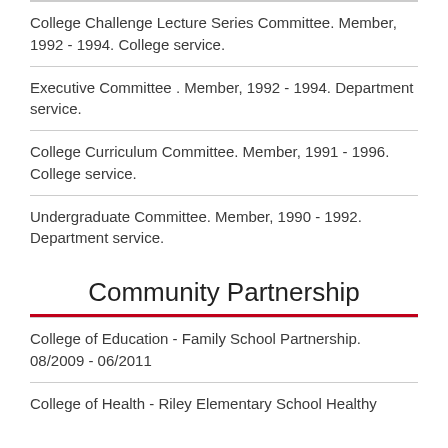College Challenge Lecture Series Committee. Member, 1992 - 1994. College service.
Executive Committee . Member, 1992 - 1994. Department service.
College Curriculum Committee. Member, 1991 - 1996. College service.
Undergraduate Committee. Member, 1990 - 1992. Department service.
Community Partnership
College of Education - Family School Partnership. 08/2009 - 06/2011
College of Health - Riley Elementary School Healthy